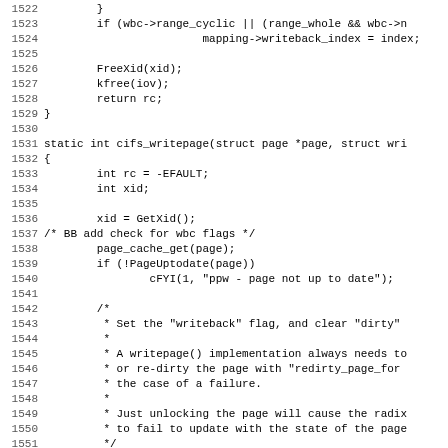Source code listing, lines 1522-1554, C programming language (cifs_writepage function)